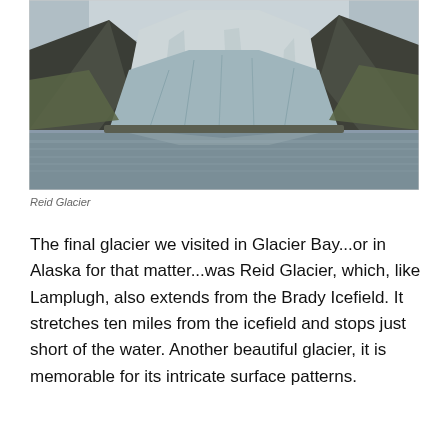[Figure (photo): Photograph of Reid Glacier, showing a large glacier flowing down between mountains into a calm reflective lake or bay. The glacier face is blue-grey and heavily crevassed, with mountains and green hillsides visible on either side. Overcast sky above.]
Reid Glacier
The final glacier we visited in Glacier Bay...or in Alaska for that matter...was Reid Glacier, which, like Lamplugh, also extends from the Brady Icefield. It stretches ten miles from the icefield and stops just short of the water. Another beautiful glacier, it is memorable for its intricate surface patterns.